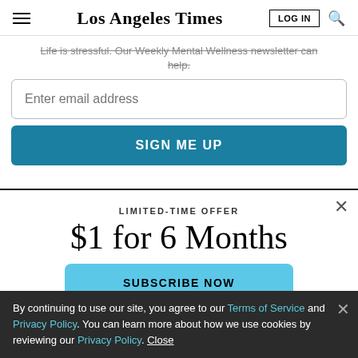Los Angeles Times — LOG IN — Search
Life is stressful. Our Weekly Mental Wellness newsletter can help.
Enter email address
SIGN ME UP
LIMITED-TIME OFFER
$1 for 6 Months
SUBSCRIBE NOW
By continuing to use our site, you agree to our Terms of Service and Privacy Policy. You can learn more about how we use cookies by reviewing our Privacy Policy. Close